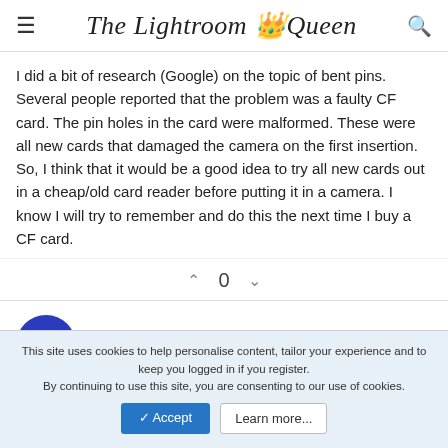The Lightroom Queen
I did a bit of research (Google) on the topic of bent pins. Several people reported that the problem was a faulty CF card. The pin holes in the card were malformed. These were all new cards that damaged the camera on the first insertion. So, I think that it would be a good idea to try all new cards out in a cheap/old card reader before putting it in a camera. I know I will try to remember and do this the next time I buy a CF card.
0
Hankw
New Member
This site uses cookies to help personalise content, tailor your experience and to keep you logged in if you register.
By continuing to use this site, you are consenting to our use of cookies.